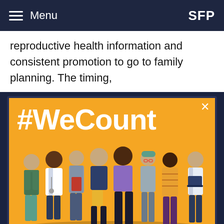Menu  SFP
reproductive health information and consistent promotion to go to family planning. The timing,
[Figure (illustration): #WeCount campaign image showing diverse group of people including doctors and community members on an orange background with text '#WeCount']
Policy should be based on science. Science relies on data.